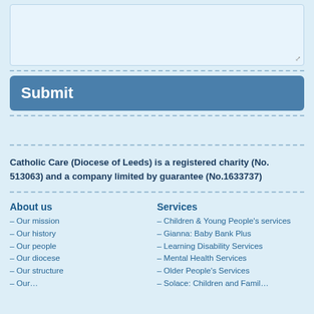[Figure (screenshot): Light blue textarea input box with resize handle at bottom right]
[Figure (screenshot): Blue Submit button]
Catholic Care (Diocese of Leeds) is a registered charity (No. 513063) and a company limited by guarantee (No.1633737)
About us
Our mission
Our history
Our people
Our diocese
Our structure
Services
Children & Young People's services
Gianna: Baby Bank Plus
Learning Disability Services
Mental Health Services
Older People's Services